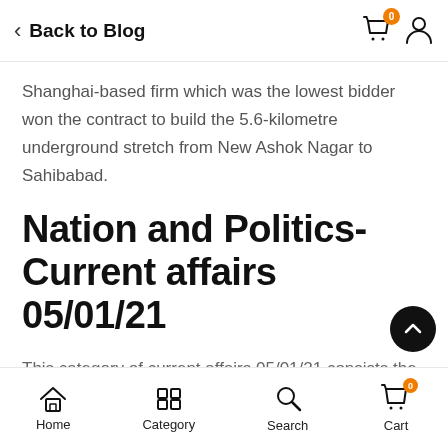Back to Blog
Shanghai-based firm which was the lowest bidder won the contract to build the 5.6-kilometre underground stretch from New Ashok Nagar to Sahibabad.
Nation and Politics- Current affairs 05/01/21
This category of current affairs 05/01/21 consists the important and latest news regarding nation a politics of India
Home  Category  Search  Cart